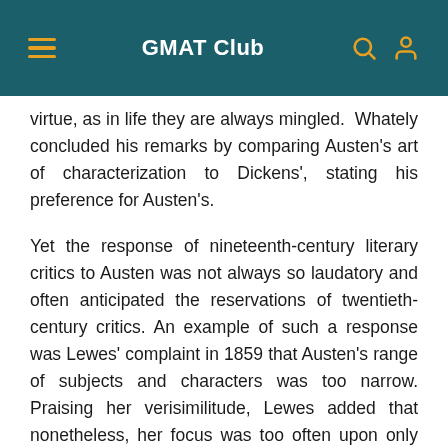GMAT Club
virtue, as in life they are always mingled.  Whately concluded his remarks by comparing Austen's art of characterization to Dickens', stating his preference for Austen's.
Yet the response of nineteenth-century literary critics to Austen was not always so laudatory and often anticipated the reservations of twentieth-century critics. An example of such a response was Lewes' complaint in 1859 that Austen's range of subjects and characters was too narrow. Praising her verisimilitude, Lewes added that nonetheless, her focus was too often upon only the unlofty and the commonplace. (Twentieth-century Marxists, on the other hand, were to complain about what they saw as her exclusive emphasis on a lofty upper-middle class.) In any case, having been rescued by some literary critics from neglect and indeed gradually lionized